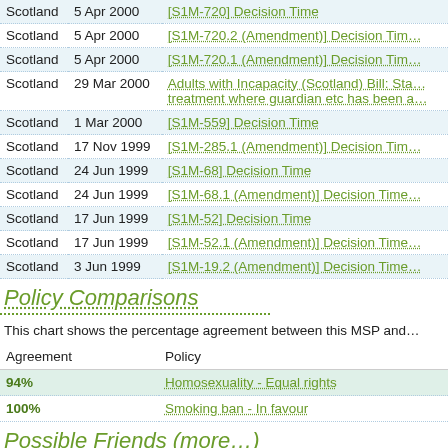|  |  |  |
| --- | --- | --- |
| Scotland | 5 Apr 2000 | [S1M-720] Decision Time |
| Scotland | 5 Apr 2000 | [S1M-720.2 (Amendment)] Decision Tim… |
| Scotland | 5 Apr 2000 | [S1M-720.1 (Amendment)] Decision Tim… |
| Scotland | 29 Mar 2000 | Adults with Incapacity (Scotland) Bill: Sta… treatment where guardian etc has been a… |
| Scotland | 1 Mar 2000 | [S1M-559] Decision Time |
| Scotland | 17 Nov 1999 | [S1M-285.1 (Amendment)] Decision Tim… |
| Scotland | 24 Jun 1999 | [S1M-68] Decision Time |
| Scotland | 24 Jun 1999 | [S1M-68.1 (Amendment)] Decision Time… |
| Scotland | 17 Jun 1999 | [S1M-52] Decision Time |
| Scotland | 17 Jun 1999 | [S1M-52.1 (Amendment)] Decision Time… |
| Scotland | 3 Jun 1999 | [S1M-19.2 (Amendment)] Decision Time… |
Policy Comparisons
This chart shows the percentage agreement between this MSP and…
| Agreement | Policy |
| --- | --- |
| 94% | Homosexuality - Equal rights |
| 100% | Smoking ban - In favour |
Possible Friends (more…)